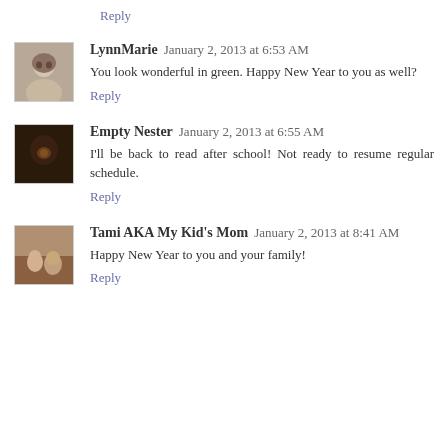Reply
LynnMarie  January 2, 2013 at 6:53 AM
You look wonderful in green. Happy New Year to you as well?
Reply
Empty Nester  January 2, 2013 at 6:55 AM
I'll be back to read after school! Not ready to resume regular schedule.
Reply
Tami AKA My Kid's Mom  January 2, 2013 at 8:41 AM
Happy New Year to you and your family!
Reply